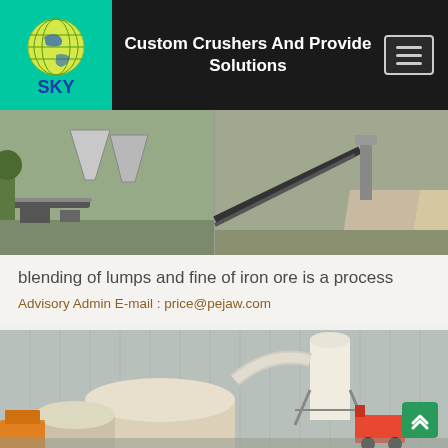Custom Crushers And Provide Solutions
[Figure (photo): Industrial crushing and conveyor equipment at a mining/quarrying site]
blending of lumps and fine of iron ore is a process
Advisory Admin E-mail : price@pejaw.com
[Figure (photo): Industrial grinding mill equipment inside a large warehouse facility with a forklift]